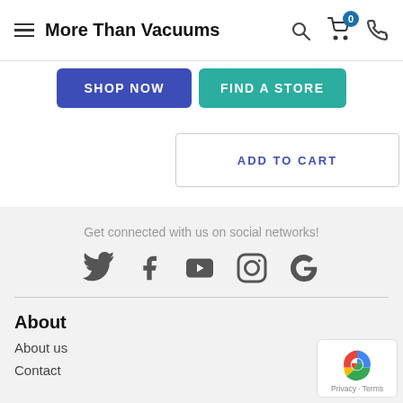More Than Vacuums
SHOP NOW
FIND A STORE
ADD TO CART
Get connected with us on social networks!
[Figure (illustration): Social media icons: Twitter, Facebook, YouTube, Instagram, Google]
About
About us
Contact